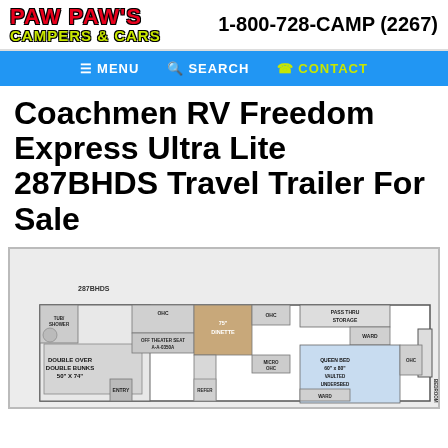PAW PAW'S CAMPERS & CARS  1-800-728-CAMP (2267)
≡ MENU  Q SEARCH  ☎ CONTACT
Coachmen RV Freedom Express Ultra Lite 287BHDS Travel Trailer For Sale
[Figure (engineering-diagram): Floor plan diagram of the 287BHDS travel trailer showing room layout including double over double bunks, queen bed with vaulted undersbed storage, OHC, dinette 75', pass thru storage, ward, micro OHC, refer, and other features.]